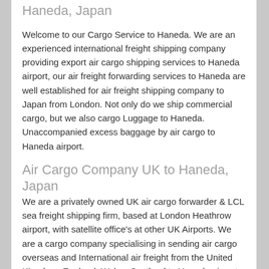Haneda, Japan
Welcome to our Cargo Service to Haneda. We are an experienced international freight shipping company providing export air cargo shipping services to Haneda airport, our air freight forwarding services to Haneda are well established for air freight shipping company to Japan from London. Not only do we ship commercial cargo, but we also cargo Luggage to Haneda. Unaccompanied excess baggage by air cargo to Haneda airport.
Air Cargo Company UK to Haneda, Japan
We are a privately owned UK air cargo forwarder & LCL sea freight shipping firm, based at London Heathrow airport, with satellite office's at other UK Airports. We are a cargo company specialising in sending air cargo overseas and International air freight from the United Kingdom; England, Wales, Scotland to Haneda airport providing cost effective, cheap air cargo rates to Japan.